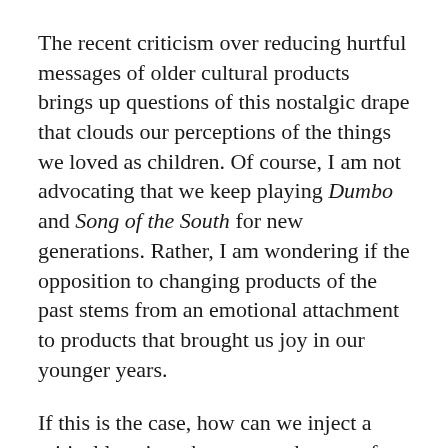The recent criticism over reducing hurtful messages of older cultural products brings up questions of this nostalgic drape that clouds our perceptions of the things we loved as children. Of course, I am not advocating that we keep playing Dumbo and Song of the South for new generations. Rather, I am wondering if the opposition to changing products of the past stems from an emotional attachment to products that brought us joy in our younger years.
If this is the case, how can we inject a critical lens into the protected space of nostalgia?
Assuming that those attached to these distorted...